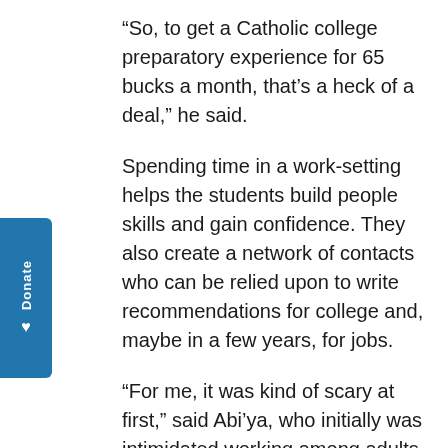“So, to get a Catholic college preparatory experience for 65 bucks a month, that’s a heck of a deal,” he said.
Spending time in a work-setting helps the students build people skills and gain confidence. They also create a network of contacts who can be relied upon to write recommendations for college and, maybe in a few years, for jobs.
“For me, it was kind of scary at first,” said Abi’ya, who initially was intimidated working among adults. “I was not a very sociable person, and it made me extremely nervous to talk to people or have the potential of